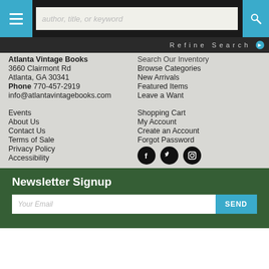author, title, or keyword — search bar with menu and search buttons
Refine Search
Atlanta Vintage Books
3660 Clairmont Rd
Atlanta, GA 30341
Phone 770-457-2919
info@atlantavintagebooks.com
Search Our Inventory
Browse Categories
New Arrivals
Featured Items
Leave a Want
Events
About Us
Contact Us
Terms of Sale
Privacy Policy
Accessibility
Shopping Cart
My Account
Create an Account
Forgot Password
[Figure (illustration): Social media icons: Facebook, Twitter, Instagram — white icons on black circles]
Newsletter Signup
Your Email
SEND